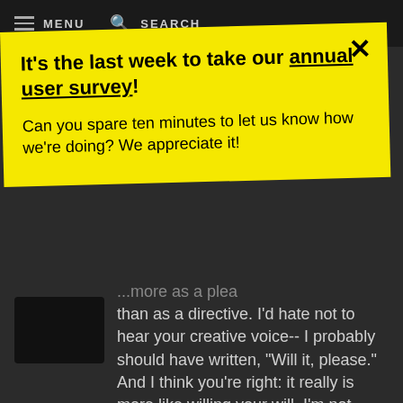MENU   SEARCH
[Figure (screenshot): Yellow popup banner overlay on a dark website background with close button]
It's the last week to take our annual user survey!
Can you spare ten minutes to let us know how we're doing? We appreciate it!
...more as a plea than as a directive. I'd hate not to hear your creative voice-- I probably should have written, "Will it, please." And I think you're right: it really is more like willing your will. I'm not always successful either, of course, but success can be a slippery concept.